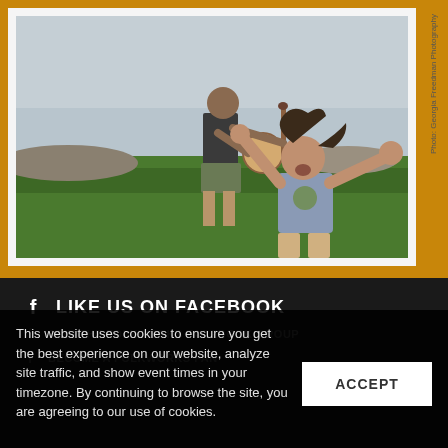[Figure (photo): Outdoor photograph of a man playing banjo standing in a green field, and a young child in the foreground with arms raised joyfully. Photo credit: Georgia Freedman Photography.]
Photo: Georgia Freedman Photography
LIKE US ON FACEBOOK
JOIN THE FOLKWORKS FACEBOOK GROUP
BECOME A FOLKWORKS FAN
This website uses cookies to ensure you get the best experience on our website, analyze site traffic, and show event times in your timezone. By continuing to browse the site, you are agreeing to our use of cookies.
ACCEPT